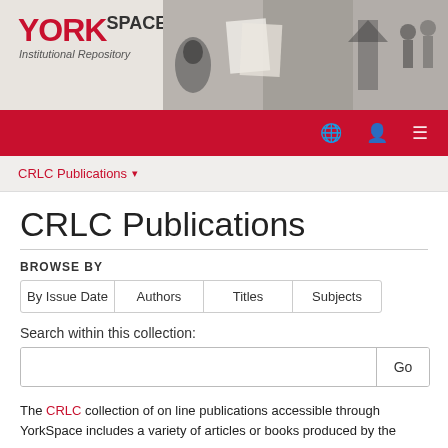[Figure (screenshot): YorkSpace Institutional Repository header banner with YORK in red, SPACE in grey, 'Institutional Repository' subtitle, and a collage of black and white images on the right]
CRLC Publications ▾
CRLC Publications
BROWSE BY
By Issue Date | Authors | Titles | Subjects
Search within this collection:
Go
The CRLC collection of on line publications accessible through YorkSpace includes a variety of articles or books produced by the